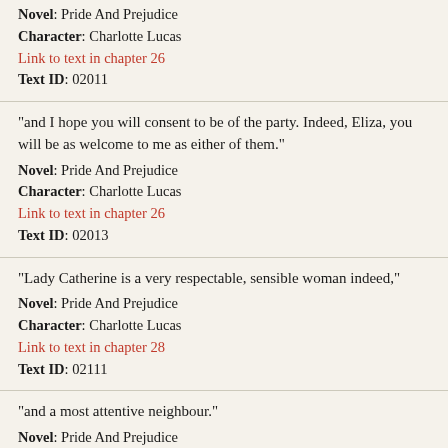Novel: Pride And Prejudice
Character: Charlotte Lucas
Link to text in chapter 26
Text ID: 02011
“and I hope you will consent to be of the party. Indeed, Eliza, you will be as welcome to me as either of them.”
Novel: Pride And Prejudice
Character: Charlotte Lucas
Link to text in chapter 26
Text ID: 02013
“Lady Catherine is a very respectable, sensible woman indeed,”
Novel: Pride And Prejudice
Character: Charlotte Lucas
Link to text in chapter 28
Text ID: 02111
“and a most attentive neighbour.”
Novel: Pride And Prejudice
Character: Charlotte Lucas
Link to text in chapter 28